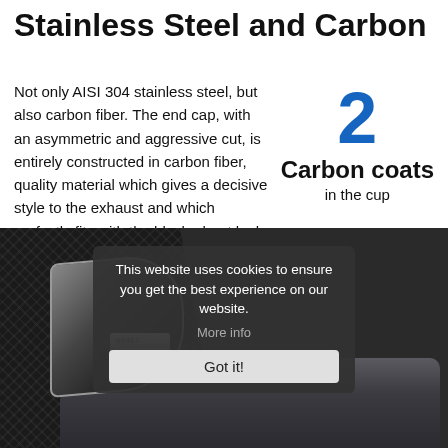Stainless Steel and Carbon
Not only AISI 304 stainless steel, but also carbon fiber. The end cap, with an asymmetric and aggressive cut, is entirely constructed in carbon fiber, quality material which gives a decisive style to the exhaust and which perfectly fits with the blacked-out look of the muffler.
2
Carbon coats
in the cup
[Figure (photo): Carbon fiber exhaust muffler tip with silver band and serial number]
This website uses cookies to ensure you get the best experience on our website.
More info
Got it!